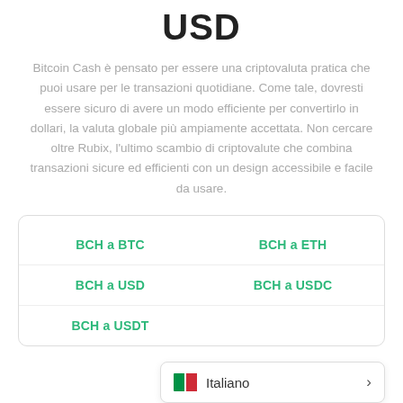USD
Bitcoin Cash è pensato per essere una criptovaluta pratica che puoi usare per le transazioni quotidiane. Come tale, dovresti essere sicuro di avere un modo efficiente per convertirlo in dollari, la valuta globale più ampiamente accettata. Non cercare oltre Rubix, l'ultimo scambio di criptovalute che combina transazioni sicure ed efficienti con un design accessibile e facile da usare.
| BCH a BTC | BCH a ETH |
| BCH a USD | BCH a USDC |
| BCH a USDT |  |